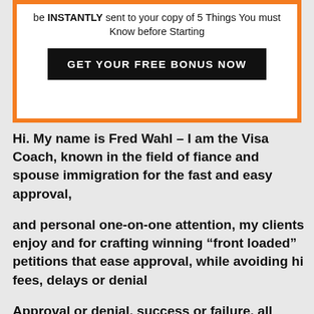be INSTANTLY sent to your copy of 5 Things You must Know before Starting
GET YOUR FREE BONUS NOW
Hi. My name is Fred Wahl – I am the Visa Coach, known in the field of fiance and spouse immigration for the fast and easy approval,
and personal one-on-one attention, my clients enjoy and for crafting winning “front loaded” petitions that ease approval, while avoiding hi fees, delays or denial
Approval or denial, success or failure, all hinge